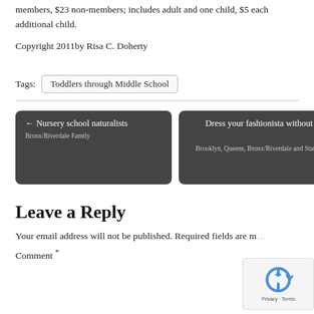members, $23 non-members; includes adult and one child, $5 each additional child.
Copyright 2011by Risa C. Doherty
Tags: Toddlers through Middle School
← Nursery school naturalists Bronx/Riverdale Family
Dress your fashionista without getting fleeced Brooklyn, Queens, Bronx/Riverdale and Staten Island Family →
Leave a Reply
Your email address will not be published. Required fields are m...
Comment *